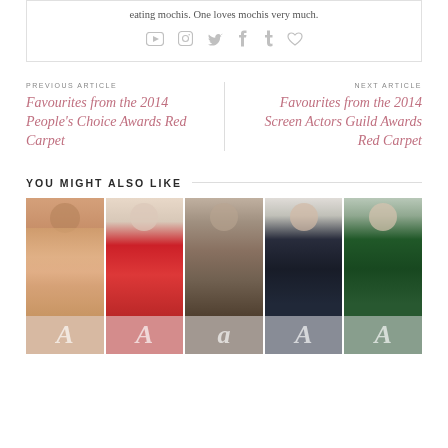eating mochis. One loves mochis very much.
[Figure (infographic): Social media icons: YouTube, Instagram, Twitter, Facebook, Tumblr, Heart/Like]
PREVIOUS ARTICLE
Favourites from the 2014 People's Choice Awards Red Carpet
NEXT ARTICLE
Favourites from the 2014 Screen Actors Guild Awards Red Carpet
YOU MIGHT ALSO LIKE
[Figure (photo): Five celebrity photos in a horizontal strip showing women in formal attire at a red carpet event]